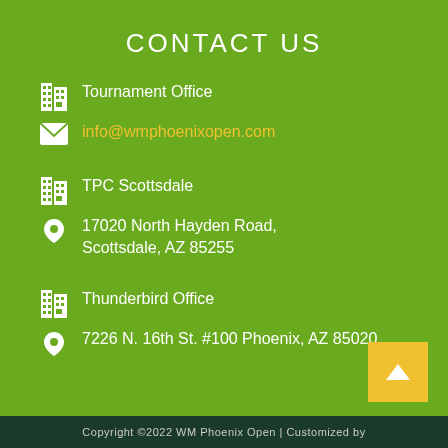CONTACT US
Tournament Office
info@wmphoenixopen.com
TPC Scottsdale
17020 North Hayden Road, Scottsdale, AZ 85255
Thunderbird Office
7226 N. 16th St. #100 Phoenix, AZ 85020
Copyright ©2022 WM Phoenix Open | Customized by